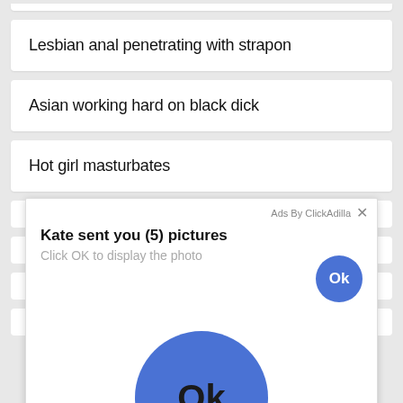Lesbian anal penetrating with strapon
Asian working hard on black dick
Hot girl masturbates
[Figure (screenshot): Ad popup overlay from ClickAdilla showing 'Kate sent you (5) pictures' with 'Click OK to display the photo' text, a small blue Ok button top right, and a large blue Ok button in the center of the popup.]